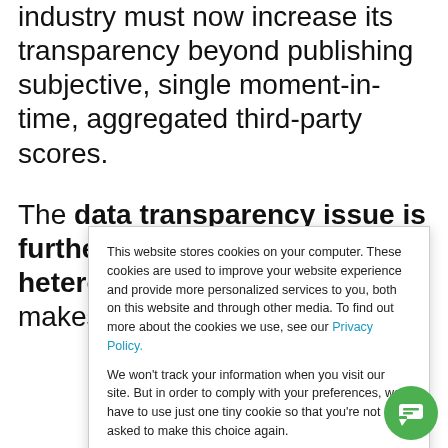industry must now increase its transparency beyond publishing subjective, single moment-in-time, aggregated third-party scores.
The data transparency issue is further aggravated by the heterogeneity of assets, which makes comparison difficult.
This website stores cookies on your computer. These cookies are used to improve your website experience and provide more personalized services to you, both on this website and through other media. To find out more about the cookies we use, see our Privacy Policy.

We won't track your information when you visit our site. But in order to comply with your preferences, we'll have to use just one tiny cookie so that you're not asked to make this choice again.